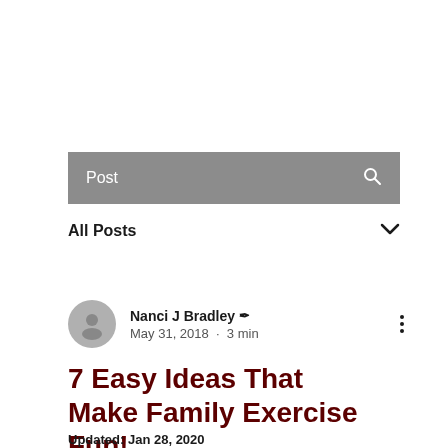Post
All Posts
Nanci J Bradley ✏ · May 31, 2018 · 3 min
7 Easy Ideas That Make Family Exercise Fun!
Updated: Jan 28, 2020